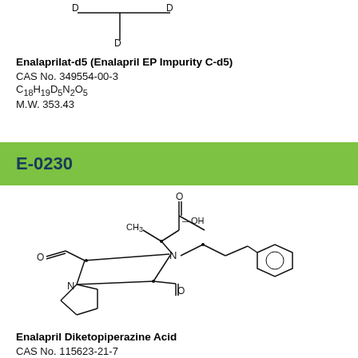[Figure (chemical-structure): Partial chemical structure of Enalaprilat-d5 showing deuterium (D) labeled atoms at top of page]
Enalaprilat-d5 (Enalapril EP Impurity C-d5)
CAS No. 349554-00-3
C18H19D5N2O5
M.W. 353.43
E-0230
[Figure (chemical-structure): Chemical structure of Enalapril Diketopiperazine Acid showing a bicyclic diketopiperazine ring system with a phenylpropyl chain and carboxylic acid group]
Enalapril Diketopiperazine Acid
CAS No. 115623-21-7
C18H22N2O4